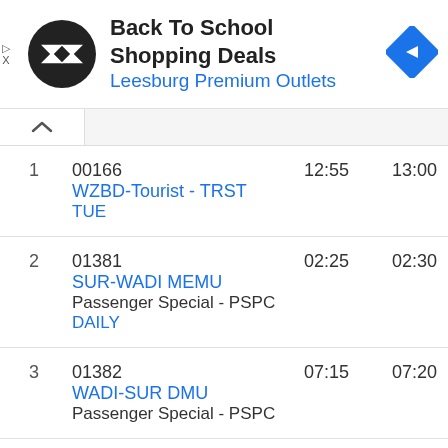[Figure (infographic): Advertisement banner: Back To School Shopping Deals at Leesburg Premium Outlets with logo and navigation icon]
| # | Train | Arrival | Departure |
| --- | --- | --- | --- |
| 1 | 00166
WZBD-Tourist - TRST
TUE | 12:55 | 13:00 |
| 2 | 01381
SUR-WADI MEMU
Passenger Special - PSPC
DAILY | 02:25 | 02:30 |
| 3 | 01382
WADI-SUR DMU
Passenger Special - PSPC | 07:15 | 07:20 |